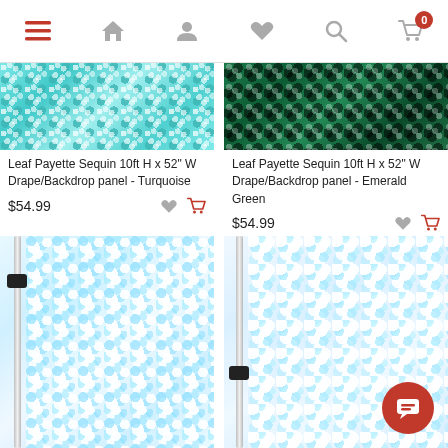Navigation bar with menu, home, user, wishlist, search, cart (0) icons
[Figure (photo): Turquoise leaf payette sequin drape/backdrop panel product image]
Leaf Payette Sequin 10ft H x 52" W Drape/Backdrop panel - Turquoise
$54.99
[Figure (photo): Emerald Green leaf payette sequin drape/backdrop panel product image]
Leaf Payette Sequin 10ft H x 52" W Drape/Backdrop panel - Emerald Green
$54.99
[Figure (photo): Iridescent white large sequin drape/backdrop panel on pole - left]
[Figure (photo): Iridescent white large sequin drape/backdrop panel on pole - right]